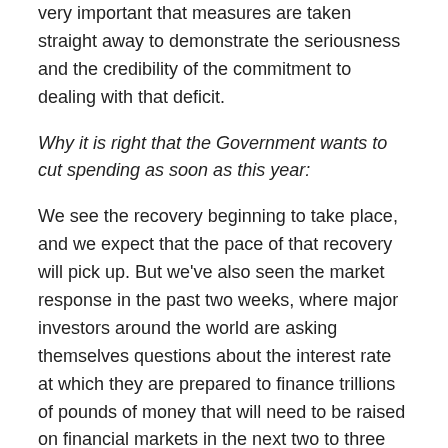very important that measures are taken straight away to demonstrate the seriousness and the credibility of the commitment to dealing with that deficit.
Why it is right that the Government wants to cut spending as soon as this year:
We see the recovery beginning to take place, and we expect that the pace of that recovery will pick up. But we've also seen the market response in the past two weeks, where major investors around the world are asking themselves questions about the interest rate at which they are prepared to finance trillions of pounds of money that will need to be raised on financial markets in the next two to three years, to finance government requirements around the world. And that I think has been a sobering reflection of what can happen if you don't make very clear at the outset... I think markets were not expecting any